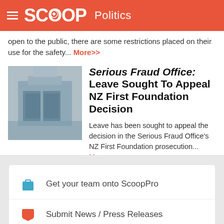SCOOP Politics
open to the public, there are some restrictions placed on their use for the safety... More>>
Serious Fraud Office: Leave Sought To Appeal NZ First Foundation Decision
Leave has been sought to appeal the decision in the Serious Fraud Office's NZ First Foundation prosecution... More>>
Get your team onto ScoopPro
Submit News / Press Releases
ScoopCitizen / Become a Supporter
Using Scoop at work?